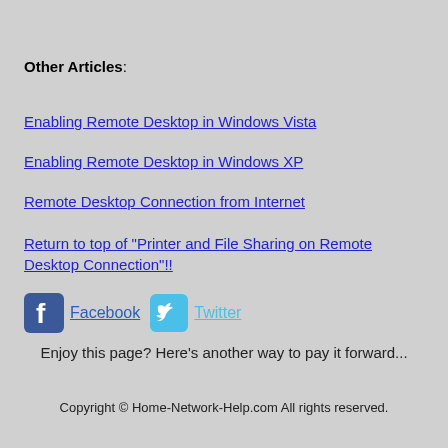Other Articles:
Enabling Remote Desktop in Windows Vista
Enabling Remote Desktop in Windows XP
Remote Desktop Connection from Internet
Return to top of "Printer and File Sharing on Remote Desktop Connection"!!
[Figure (logo): Facebook and Twitter social media icons with links]
Enjoy this page? Here's another way to pay it forward...
Copyright © Home-Network-Help.com All rights reserved.